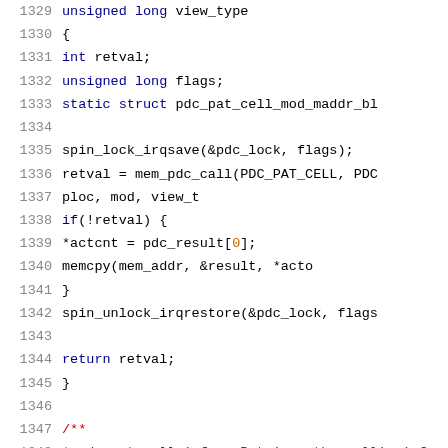[Figure (screenshot): Source code listing showing C code lines 1329-1350, with syntax highlighting. Keywords in dark blue, comments in red, numbers in orange.]